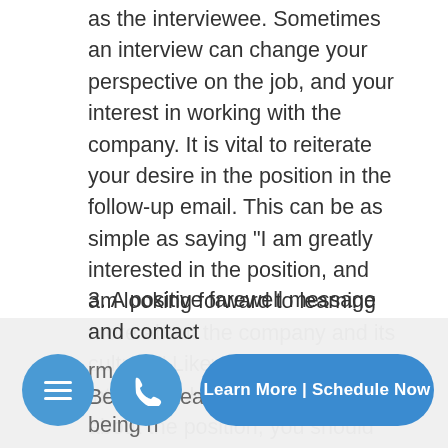as the interviewee. Sometimes an interview can change your perspective on the job, and your interest in working with the company. It is vital to reiterate your desire in the position in the follow-up email. This can be as simple as saying “I am greatly interested in the position, and am looking forward to learning more about the company and its culture.” Likewise, if the interview changed your mind about the position, you should voice this opinion as well. The last thing an interviewer wants is to put time and effort into a candidate that is not invested in the position.
3. A positive farewell message and contact information
Be ... Lea...